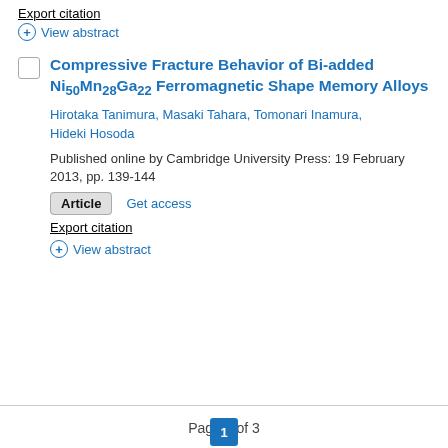Export citation
⊕ View abstract
Compressive Fracture Behavior of Bi-added Ni50Mn28Ga22 Ferromagnetic Shape Memory Alloys
Hirotaka Tanimura, Masaki Tahara, Tomonari Inamura, Hideki Hosoda
Published online by Cambridge University Press: 19 February 2013, pp. 139-144
Article   Get access
Export citation
⊕ View abstract
Page 1 of 3